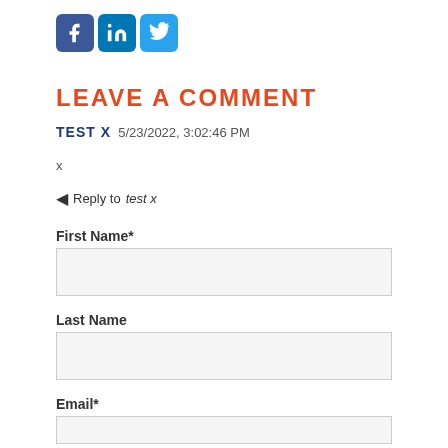[Figure (illustration): Three social media icons: Facebook (blue with f), LinkedIn (blue with in), Twitter (light blue with bird icon)]
LEAVE A COMMENT
TEST X  5/23/2022, 3:02:46 PM
x
← Reply to test x
First Name*
Last Name
Email*